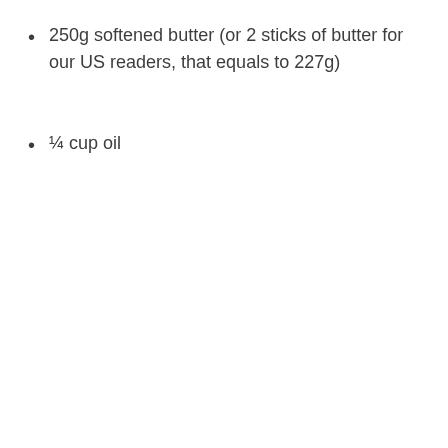250g softened butter (or 2 sticks of butter for our US readers, that equals to 227g)
¼ cup oil